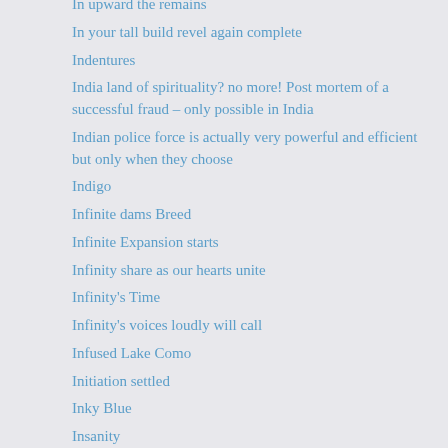In upward the remains
In your tall build revel again complete
Indentures
India land of spirituality? no more! Post mortem of a successful fraud – only possible in India
Indian police force is actually very powerful and efficient but only when they choose
Indigo
Infinite dams Breed
Infinite Expansion starts
Infinity share as our hearts unite
Infinity's Time
Infinity's voices loudly will call
Infused Lake Como
Initiation settled
Inky Blue
Insanity
Inside Dust and Rain
Inside hopes flourish
Inside hours
Inside there is a soft glow